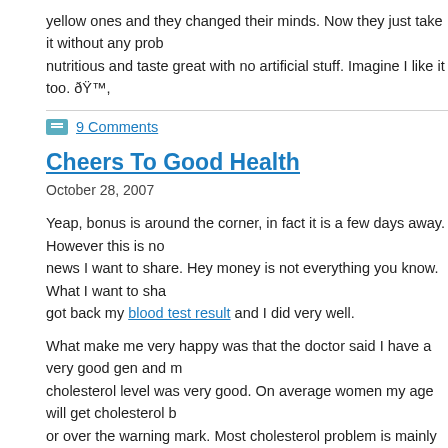yellow ones and they changed their minds. Now they just take it without any prob… nutritious and taste great with no artificial stuff. Imagine I like it too. 😊,
9 Comments
Cheers To Good Health
October 28, 2007
Yeap, bonus is around the corner, in fact it is a few days away. However this is no… news I want to share. Hey money is not everything you know. What I want to sha… got back my blood test result and I did very well.
What make me very happy was that the doctor said I have a very good gen and m… cholesterol level was very good. On average women my age will get cholesterol b… or over the warning mark. Most cholesterol problem is mainly cause by genetics. … all other test was within range.
Sometimes many of us do not appreciate the good health we are getting. We tak… granted. When it goes away, we will start doing everything to improve it. For all p… take a yearly health check and start paying attention to it. Cheers to good health.